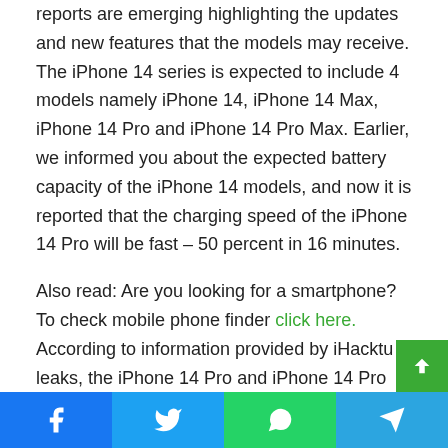reports are emerging highlighting the updates and new features that the models may receive. The iPhone 14 series is expected to include 4 models namely iPhone 14, iPhone 14 Max, iPhone 14 Pro and iPhone 14 Pro Max. Earlier, we informed you about the expected battery capacity of the iPhone 14 models, and now it is reported that the charging speed of the iPhone 14 Pro will be fast – 50 percent in 16 minutes.
Also read: Are you looking for a smartphone? To check mobile phone finder click here.
According to information provided by iHacktu leaks, the iPhone 14 Pro and iPhone 14 Pro Max are expected to offer an additional 2 hours and 10 minutes of battery backup along with fast charging capabilities. iHacktu ileaks announced earlier that the A16 has 42% and 35% faster CPU and GPU performance compared to the A15